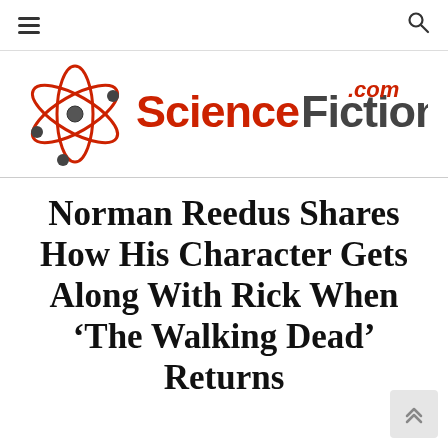☰  🔍
[Figure (logo): ScienceFiction.com logo with atomic orbit icon and red/dark text]
Norman Reedus Shares How His Character Gets Along With Rick When 'The Walking Dead' Returns